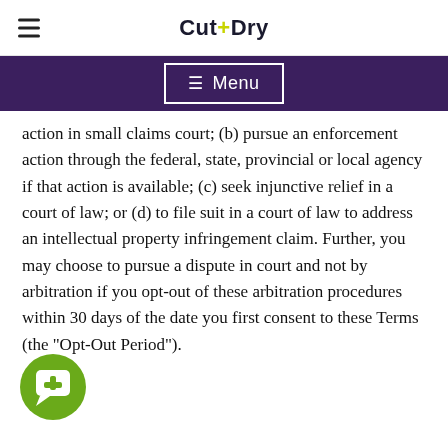Cut+Dry
Menu
action in small claims court; (b) pursue an enforcement action through the federal, state, provincial or local agency if that action is available; (c) seek injunctive relief in a court of law; or (d) to file suit in a court of law to address an intellectual property infringement claim. Further, you may choose to pursue a dispute in court and not by arbitration if you opt-out of these arbitration procedures within 30 days of the date you first consent to these Terms (the “Opt-Out Period”).
[Figure (other): Green circular chat/support button with a headset/plus icon, fixed at bottom left]